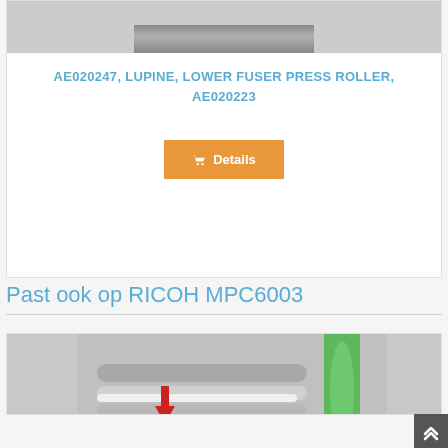[Figure (photo): Top portion of a roller/fuser press roller component on grey background]
AE020247, LUPINE, LOWER FUSER PRESS ROLLER, AE020223
[Figure (screenshot): Orange Details button with shopping cart icon]
Past ook op RICOH MPC6003
[Figure (photo): Multiple fuser rollers laid out including a green roller and other components with a red arrow pointing down]